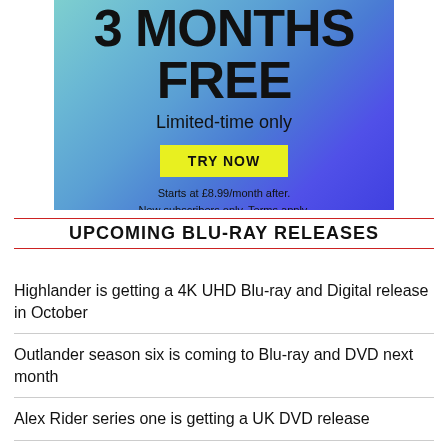[Figure (infographic): Advertisement banner with gradient background (teal to blue/purple). Shows '3 MONTHS FREE' in large bold text, 'Limited-time only' subtitle, a yellow 'TRY NOW' button, and fine print: 'Starts at £8.99/month after. New subscribers only. Terms apply.']
UPCOMING BLU-RAY RELEASES
Highlander is getting a 4K UHD Blu-ray and Digital release in October
Outlander season six is coming to Blu-ray and DVD next month
Alex Rider series one is getting a UK DVD release
Top Gun: Maverick gets Blu-ray and 4K Ultra